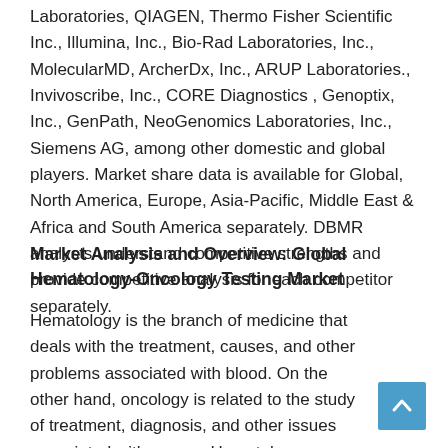Laboratories, QIAGEN, Thermo Fisher Scientific Inc., Illumina, Inc., Bio-Rad Laboratories, Inc., MolecularMD, ArcherDx, Inc., ARUP Laboratories., Invivoscribe, Inc., CORE Diagnostics , Genoptix, Inc., GenPath, NeoGenomics Laboratories, Inc., Siemens AG, among other domestic and global players. Market share data is available for Global, North America, Europe, Asia-Pacific, Middle East & Africa and South America separately. DBMR analysts understand competitive strengths and provide competitive analysis for each competitor separately.
Market Analysis and Overview: Global Hematology-Oncology Testing Market
Hematology is the branch of medicine that deals with the treatment, causes, and other problems associated with blood. On the other hand, oncology is related to the study of treatment, diagnosis, and other issues associated with cancer. Hematology-oncology is the method used to treat blood diseases and disorders and cancers.